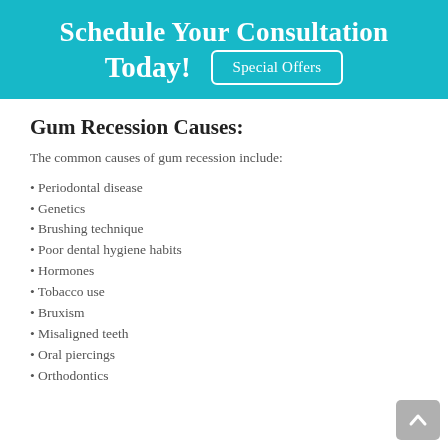Schedule Your Consultation Today!
[Figure (other): Special Offers button with white border on teal background]
Gum Recession Causes:
The common causes of gum recession include:
Periodontal disease
Genetics
Brushing technique
Poor dental hygiene habits
Hormones
Tobacco use
Bruxism
Misaligned teeth
Oral piercings
Orthodontics